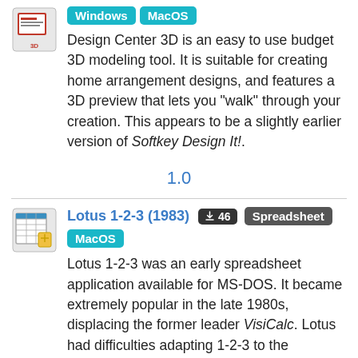Design Center 3D is an easy to use budget 3D modeling tool. It is suitable for creating home arrangement designs, and features a 3D preview that lets you "walk" through your creation. This appears to be a slightly earlier version of Softkey Design It!.
1.0
Lotus 1-2-3 (1983)
Lotus 1-2-3 was an early spreadsheet application available for MS-DOS. It became extremely popular in the late 1980s, displacing the former leader VisiCalc. Lotus had difficulties adapting 1-2-3 to the Windows environment, and was overtaken by Microsoft Excel. Spreadsheet functionality was also included in Lotus Symphony. Later versions were